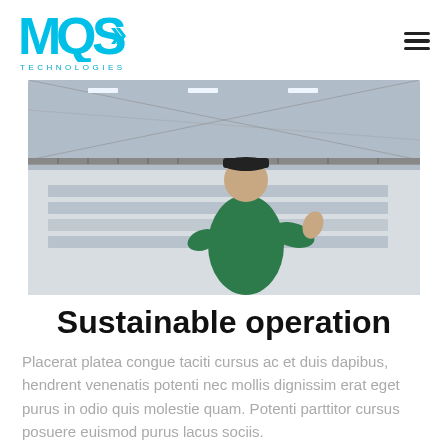MQS Technologies
[Figure (photo): A man in a green hoodie and cap standing on a mezzanine level of a large industrial warehouse or manufacturing facility, gesturing with his hands. Behind him are rows of assembly lines or sorting equipment below.]
Sustainable operation
Placerat platea congue taciti cursus ac et duis dapibus, hendrent venenatis potenti nec mollis dignissim erat eget purus in odio quis molestie quam. Potenti parttitor cursus posuere euismod purus lacus sociis.